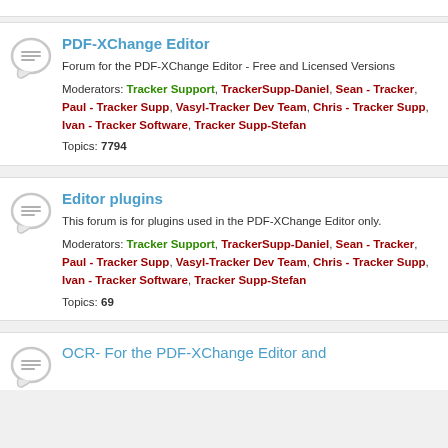PDF-XChange Editor
Forum for the PDF-XChange Editor - Free and Licensed Versions
Moderators: Tracker Support, TrackerSupp-Daniel, Sean - Tracker, Paul - Tracker Supp, Vasyl-Tracker Dev Team, Chris - Tracker Supp, Ivan - Tracker Software, Tracker Supp-Stefan
Topics: 7794
Editor plugins
This forum is for plugins used in the PDF-XChange Editor only.
Moderators: Tracker Support, TrackerSupp-Daniel, Sean - Tracker, Paul - Tracker Supp, Vasyl-Tracker Dev Team, Chris - Tracker Supp, Ivan - Tracker Software, Tracker Supp-Stefan
Topics: 69
OCR- For the PDF-XChange Editor and